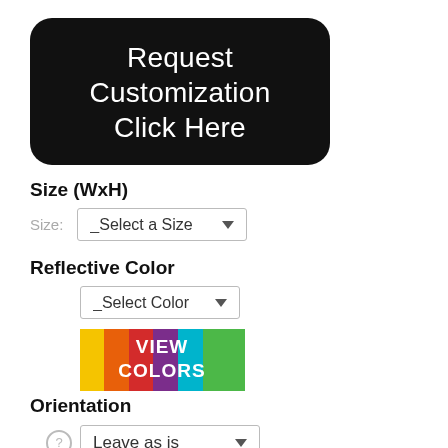Request Customization Click Here
Size (WxH)
Size: _Select a Size
Reflective Color
_Select Color
[Figure (other): VIEW COLORS button with rainbow color stripes (yellow, orange, red, purple, cyan, green)]
Orientation
Leave as is